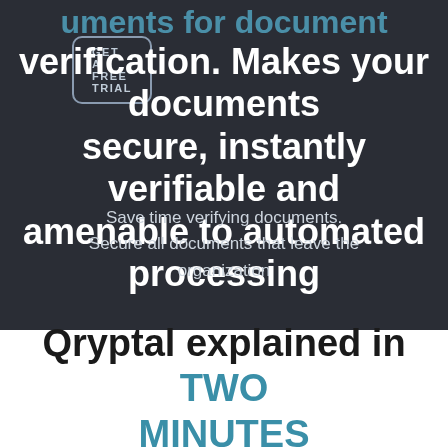GET A FREE TRIAL
...uments for document verification. Makes your documents secure, instantly verifiable and amenable to automated processing
Save time verifying documents. Secure all documents that leave the organization
Qryptal explained in TWO MINUTES